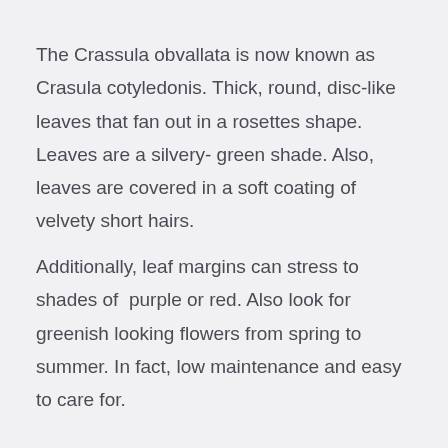The Crassula obvallata is now known as Crasula cotyledonis. Thick, round, disc-like leaves that fan out in a rosettes shape. Leaves are a silvery- green shade. Also, leaves are covered in a soft coating of velvety short hairs.
Additionally, leaf margins can stress to shades of  purple or red. Also look for greenish looking flowers from spring to summer. In fact, low maintenance and easy to care for.